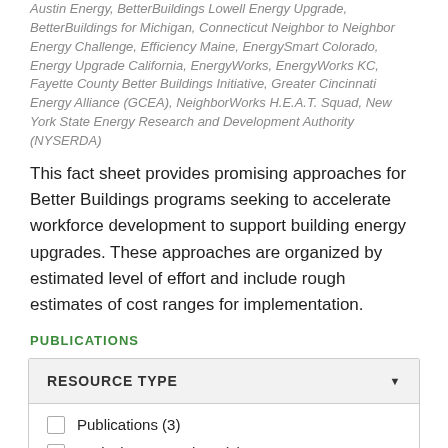Austin Energy, BetterBuildings Lowell Energy Upgrade, BetterBuildings for Michigan, Connecticut Neighbor to Neighbor Energy Challenge, Efficiency Maine, EnergySmart Colorado, Energy Upgrade California, EnergyWorks, EnergyWorks KC, Fayette County Better Buildings Initiative, Greater Cincinnati Energy Alliance (GCEA), NeighborWorks H.E.A.T. Squad, New York State Energy Research and Development Authority (NYSERDA)
This fact sheet provides promising approaches for Better Buildings programs seeking to accelerate workforce development to support building energy upgrades. These approaches are organized by estimated level of effort and include rough estimates of cost ranges for implementation.
PUBLICATIONS
| RESOURCE TYPE |
| --- |
| Publications (3) |
| Topical Presentations (3) |